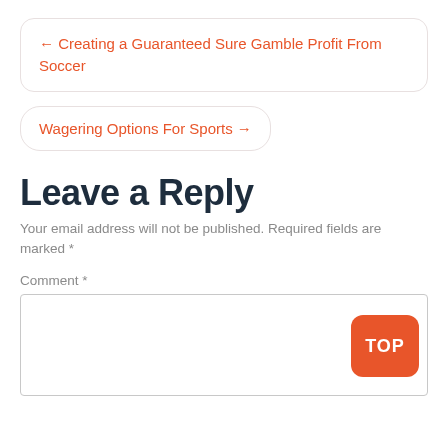← Creating a Guaranteed Sure Gamble Profit From Soccer
Wagering Options For Sports →
Leave a Reply
Your email address will not be published. Required fields are marked *
Comment *